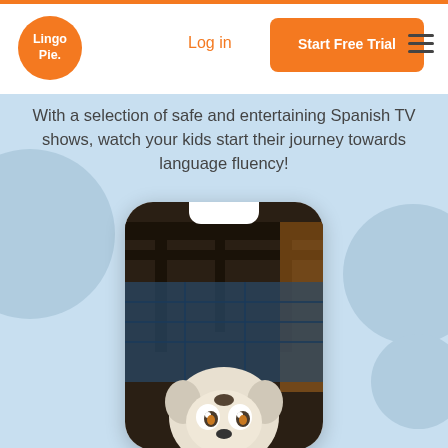[Figure (logo): LingoPie orange circular logo with white text]
Log in
Start Free Trial
With a selection of safe and entertaining Spanish TV shows, watch your kids start their journey towards language fluency!
[Figure (screenshot): Mobile phone mockup showing a cartoon animated character (a dog or similar animal) from a Spanish TV show, set in a dark interior scene]